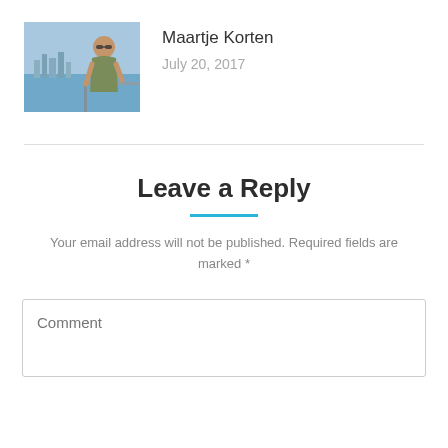[Figure (photo): Profile photo of Maartje Korten, a woman with sunglasses standing on a balcony with a city and water view in the background]
Maartje Korten
July 20, 2017
Leave a Reply
Your email address will not be published. Required fields are marked *
Comment